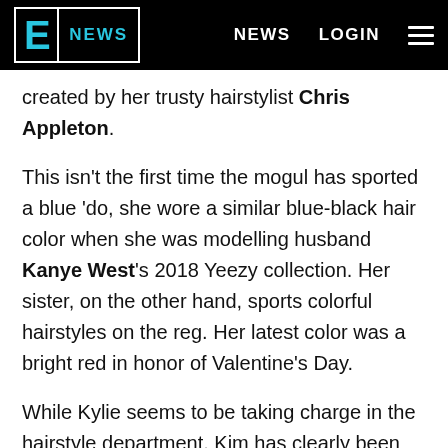E NEWS  |  NEWS  LOGIN
created by her trusty hairstylist Chris Appleton.
This isn't the first time the mogul has sported a blue 'do, she wore a similar blue-black hair color when she was modelling husband Kanye West's 2018 Yeezy collection. Her sister, on the other hand, sports colorful hairstyles on the reg. Her latest color was a bright red in honor of Valentine's Day.
While Kylie seems to be taking charge in the hairstyle department, Kim has clearly been leading the pack when it comes to high fashion. Ever since Kylie was old enough to borrow her sister's clothes